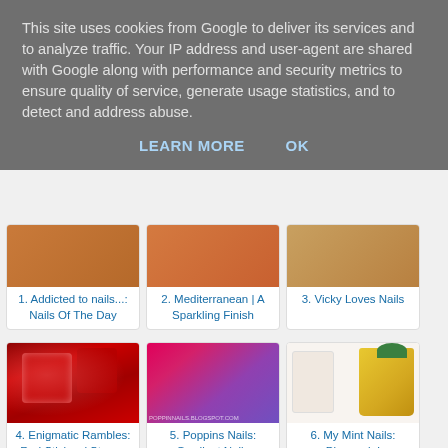This site uses cookies from Google to deliver its services and to analyze traffic. Your IP address and user-agent are shared with Google along with performance and security metrics to ensure quality of service, generate usage statistics, and to detect and address abuse.
LEARN MORE   OK
1. Addicted to nails...: Nails Of The Day
2. Mediterranean | A Sparkling Finish
3. Vicky Loves Nails
[Figure (photo): Red glitter nail art]
4. Enigmatic Rambles: Red Sticks n' Stones
[Figure (photo): Pink/purple gradient nail art]
5. Poppins Nails: Gradient Nails
[Figure (photo): Pineapple nail art on white nails]
6. My Mint Nails: Pineapple!
[Figure (photo): Partial bottom image - colorful nails]
[Figure (photo): Partial bottom image - orange/peach nails]